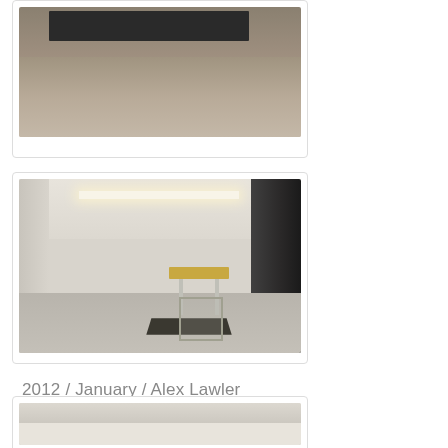[Figure (photo): A dark rectangular slab/stone object lying on a textured carpet floor, viewed from above at slight angle.]
[Figure (photo): Interior of a white gallery space with fluorescent ceiling light. A small table with a framed item and a dark mat/base are displayed in the center. A dark doorway is visible on the right wall.]
2012 / January / Alex Lawler
[Figure (photo): Gallery interior showing ceiling and upper portion of white walls, partially cropped.]